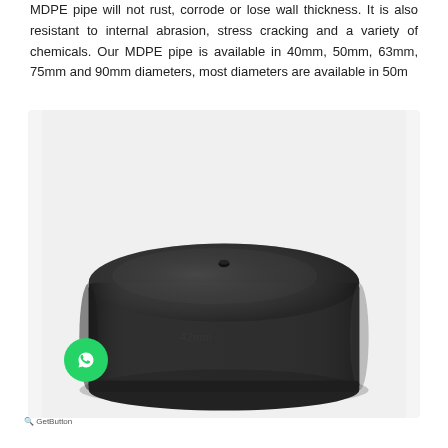MDPE pipe will not rust, corrode or lose wall thickness. It is also resistant to internal abrasion, stress cracking and a variety of chemicals. Our MDPE pipe is available in 40mm, 50mm, 63mm, 75mm and 90mm diameters, most diameters are available in 50m
[Figure (photo): A black MDPE pipe end cap fitting, cylindrical with a slightly domed top surface, textured black plastic material, viewed from a three-quarter angle showing both the top and side.]